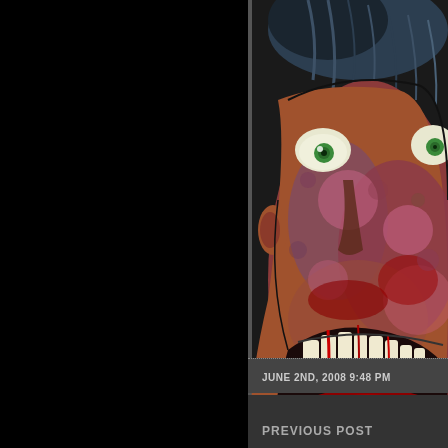[Figure (illustration): Horror comic book illustration of a zombie/monster with deteriorating face, green eyes, exposed teeth and jaw, wearing a yellow shirt/jacket. Colorful EC Comics-style horror art on a dark background. Only the right portion of the image is visible on this page.]
JUNE 2ND, 2008 9:48 PM
PREVIOUS POST